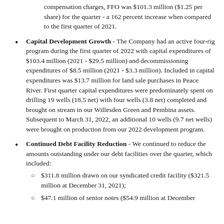compensation charges, FFO was $101.3 million ($1.25 per share) for the quarter - a 162 percent increase when compared to the first quarter of 2021.
Capital Development Growth - The Company had an active four-rig program during the first quarter of 2022 with capital expenditures of $103.4 million (2021 - $29.5 million) and decommissioning expenditures of $8.5 million (2021 - $3.3 million). Included in capital expenditures was $13.7 million for land sale purchases in Peace River. First quarter capital expenditures were predominately spent on drilling 19 wells (18.5 net) with four wells (3.8 net) completed and brought on stream in our Willesden Green and Pembina assets. Subsequent to March 31, 2022, an additional 10 wells (9.7 net wells) were brought on production from our 2022 development program.
Continued Debt Facility Reduction - We continued to reduce the amounts outstanding under our debt facilities over the quarter, which included: $311.8 million drawn on our syndicated credit facility ($321.5 million at December 31, 2021); $47.1 million of senior notes ($54.9 million at December